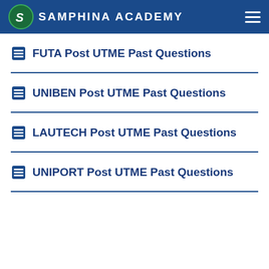SAMPHINA ACADEMY
FUTA Post UTME Past Questions
UNIBEN Post UTME Past Questions
LAUTECH Post UTME Past Questions
UNIPORT Post UTME Past Questions